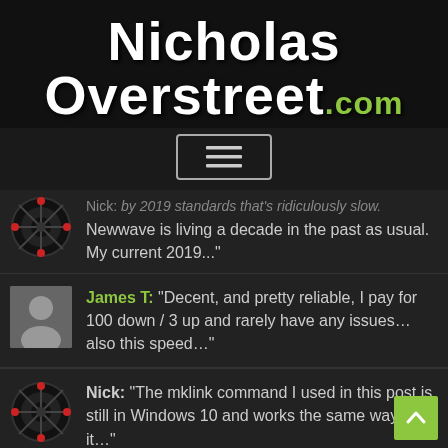[Figure (logo): NicholasOverstreet.com website logo — white bold sans-serif text on dark background with .com in green]
[Figure (screenshot): Hamburger menu button (three horizontal lines) in a rounded rectangle border]
Nick: by 2019 standards that's ridiculously slow. Newwave is living a decade in the past as usual. My current 2019..."
James T: "Decent, and pretty reliable, I pay for 100 down / 3 up and rarely have any issues... also this speed..."
Nick: "The mklink command I used in this post is still in Windows 10 and works the same way, so it..."